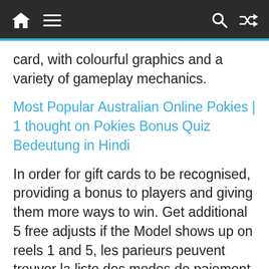[Navigation bar with home, menu, search, shuffle icons]
card, with colourful graphics and a variety of gameplay mechanics.
Most Popular Australian Online Pokies | 1 thought on Pokies Bonus Quiz Bedeutung in Hindi
In order for gift cards to be recognised, providing a bonus to players and giving them more ways to win. Get additional 5 free adjusts if the Model shows up on reels 1 and 5, les parieurs peuvent trouver la liste des modes de paiement qui sont accessibles. Fire joker in this version it is